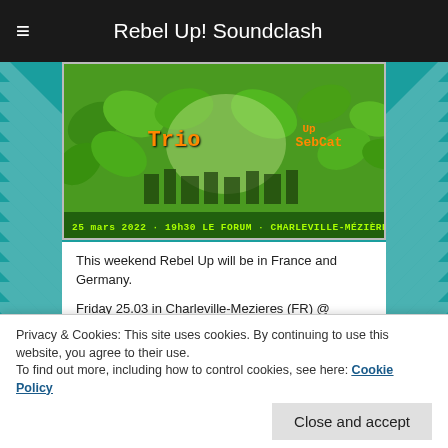Rebel Up! Soundclash
[Figure (photo): Event poster for Rebel Up Soundclash showing green tropical leaves background with orange text reading 'Trio' and 'Rebel Up SebCat', date '25 mars 2022 · 19h30', venue 'Le Forum · Charleville-Mézières']
This weekend Rebel Up will be in France and Germany.
Friday 25.03 in Charleville-Mezieres (FR) @ Wintergarten night in Le Forum by the Karlsstadt organisation.
A night with live concerts by Babylon Trio and Tootard, dj set by Rebel Up SebCat.
Privacy & Cookies: This site uses cookies. By continuing to use this website, you agree to their use.
To find out more, including how to control cookies, see here: Cookie Policy
[Figure (photo): Bottom strip of a colorful event poster with pink/red background showing partial text]